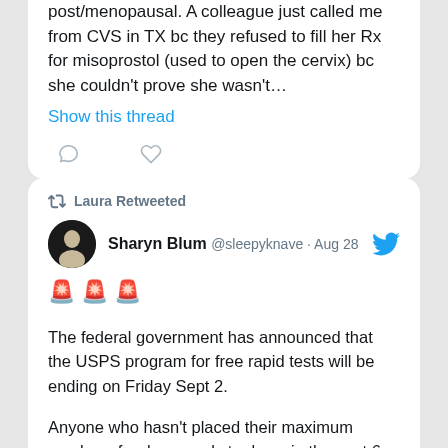post/menopausal. A colleague just called me from CVS in TX bc they refused to fill her Rx for misoprostol (used to open the cervix) bc she couldn't prove she wasn't…
Show this thread
Laura Retweeted
Sharyn Blum @sleepyknave · Aug 28
🚨🚨🚨
The federal government has announced that the USPS program for free rapid tests will be ending on Friday Sept 2.

Anyone who hasn't placed their maximum number of orders needs to do so in the next 6 days.

Order your rapid home test kits here:
special.usps.com/testkits